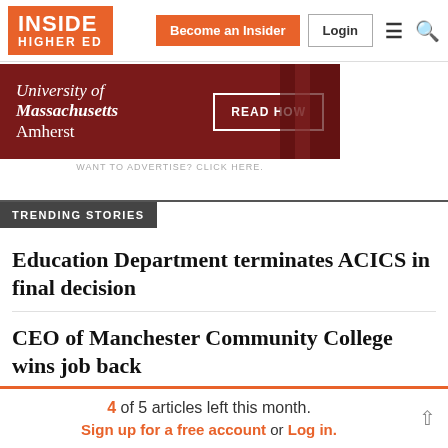INSIDE HIGHER ED | Become an Insider | Login
[Figure (screenshot): University of Massachusetts Amherst advertisement banner with red background and READ HOW button]
WANT TO ADVERTISE? CLICK HERE.
TRENDING STORIES
Education Department terminates ACICS in final decision
CEO of Manchester Community College wins job back
4 of 5 articles left this month. Sign up for a free account or Log in.